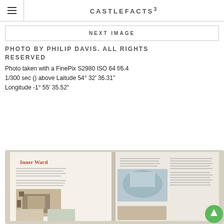CASTLEFACTS³
NEXT IMAGE
PHOTO BY PHILIP DAVIS. ALL RIGHTS RESERVED
Photo taken with a FinePix S2980 ISO 64 f/6.4 1/300 sec () above Laitude 54° 32' 36.31" Longitude -1° 55' 35.52"
[Figure (photo): Open book showing 'Inner Ward' page with illustrations and text about a castle ward, including aerial and ground-level drawings.]